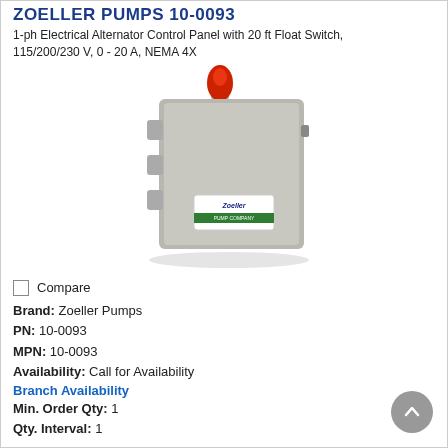ZOELLER PUMPS 10-0093
1-ph Electrical Alternator Control Panel with 20 ft Float Switch, 115/200/230 V, 0 - 20 A, NEMA 4X
[Figure (photo): Gray electrical control panel box with red alarm light on top and Zoeller Pumps label on the front]
Compare
Brand: Zoeller Pumps
PN: 10-0093
MPN: 10-0093
Availability: Call for Availability
Branch Availability
Min. Order Qty: 1
Qty. Interval: 1
Call for Price